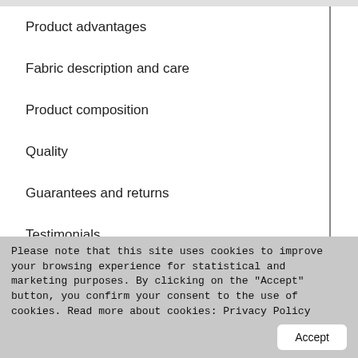Product advantages
Fabric description and care
Product composition
Quality
Guarantees and returns
Testimonials
Seat is an armchair-shaped bean bag that has already become classic and has had its model design patented. Handmade bean bag is designed with a comfortable backrest and headrest; the
Please note that this site uses cookies to improve your browsing experience for statistical and marketing purposes. By clicking on the "Accept" button, you confirm your consent to the use of cookies. Read more about cookies: Privacy Policy